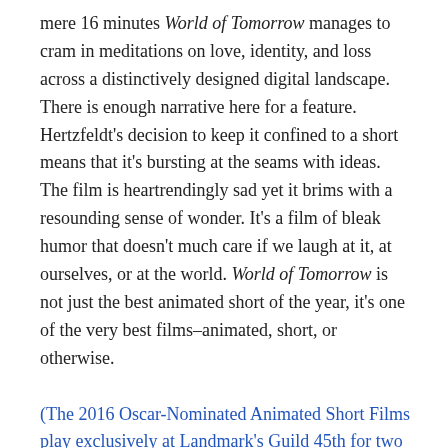mere 16 minutes World of Tomorrow manages to cram in meditations on love, identity, and loss across a distinctively designed digital landscape. There is enough narrative here for a feature. Hertzfeldt's decision to keep it confined to a short means that it's bursting at the seams with ideas. The film is heartrendingly sad yet it brims with a resounding sense of wonder. It's a film of bleak humor that doesn't much care if we laugh at it, at ourselves, or at the world. World of Tomorrow is not just the best animated short of the year, it's one of the very best films–animated, short, or otherwise.
(The 2016 Oscar-Nominated Animated Short Films play exclusively at Landmark's Guild 45th for two weeks beginning January 29. Note that